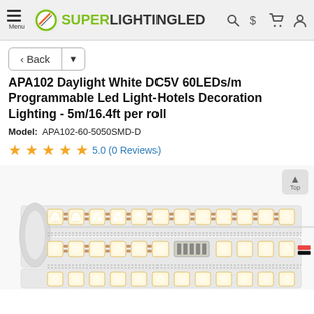SUPER LIGHTING LED — Menu, Search, $, Cart, Account icons
< Back
APA102 Daylight White DC5V 60LEDs/m Programmable Led Light-Hotels Decoration Lighting - 5m/16.4ft per roll
Model: APA102-60-5050SMD-D
5.0 (0 Reviews)
[Figure (photo): Coiled LED strip light with warm white SMD LEDs on white PCB, showing multiple rows of LEDs with copper pads, connector wires at right end]